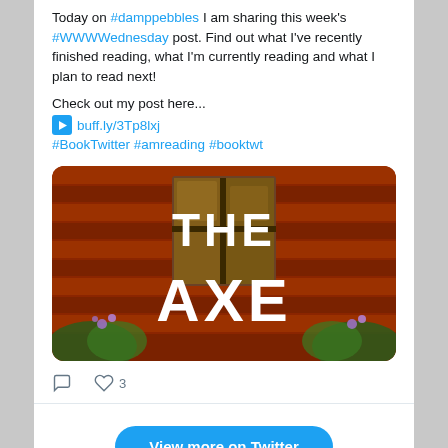Today on #damppebbles I am sharing this week's #WWWWednesday post. Find out what I've recently finished reading, what I'm currently reading and what I plan to read next!
Check out my post here...
➡ buff.ly/3Tp8lxj
#BookTwitter #amreading #booktwt
[Figure (photo): Book cover image showing 'THE AXE' text in large white letters over a red barn wall with a wooden window and wildflowers in foreground]
♡ 3
View more on Twitter